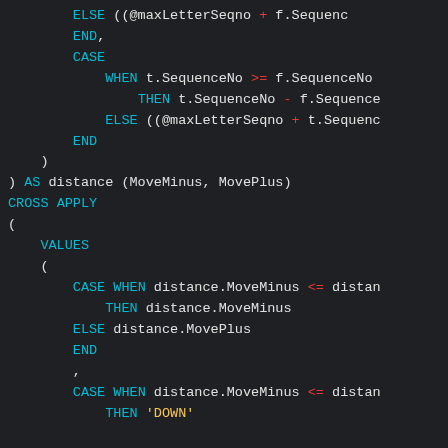[Figure (screenshot): SQL code snippet on dark background showing CASE WHEN expressions with CROSS APPLY and VALUES clauses. Keywords in cyan, operators >= and <= and + and - in red, string literals in yellow, identifiers in white.]